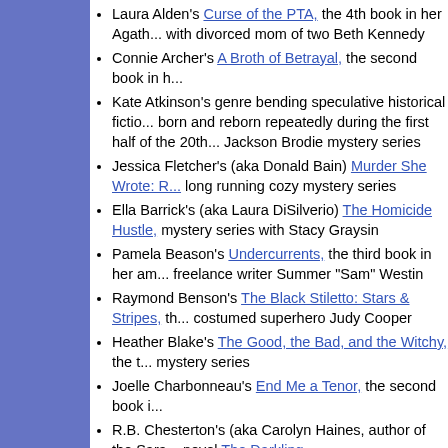Laura Alden's Curse of the PTA, the 4th book in her Agath... with divorced mom of two Beth Kennedy
Connie Archer's A Broth of Betrayal, the second book in h...
Kate Atkinson's genre bending speculative historical fictio... born and reborn repeatedly during the first half of the 20th... Jackson Brodie mystery series
Jessica Fletcher's (aka Donald Bain) Murder She Wrote: R... long running cozy mystery series
Ella Barrick's (aka Laura DiSilverio) The Homicide Hustle,... mystery series with Stacy Graysin
Pamela Beason's Undercurrents, the third book in her am... freelance writer Summer "Sam" Westin
Raymond Benson's The Black Stiletto: Stars & Stripes, th... costumed superhero Judy Cooper
Heather Blake's The Good, the Bad, and the Witchy, the t... mystery series
Joelle Charbonneau's End Me a Tenor, the second book i...
R.B. Chesterton's (aka Carolyn Haines, author of the Sara... novel The Darkling
J. J. Cook's (Joyce and Jim Lavene) That Old Flame of M... Fire Brigade paranormal cozy mystery series with Fire Ch...
Waverly Curtis' Chihuahua Confidential, the second book...